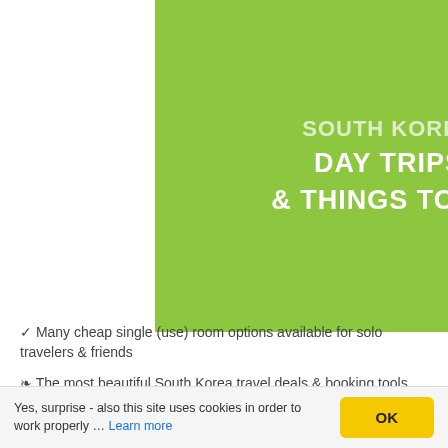[Figure (other): Green box with white bold text: SOUTH KOREA / DAY TRIPS / & THINGS TO DO]
✓ Many cheap single (use) room options available for solo travelers & friends
❧ The most beautiful South Korea travel deals & booking tools especially, but not only for solo travelers, singles and vacation with friends in comfy own rooms
❧ Unforgettable tours for solo travelers, singles holidays, tours for young adults, easily affordable single rooms in neat hotels for individual trips, many things to do and guided tours, extra-cheap flights, tours with nice international participants & more
Yes, surprise - also this site uses cookies in order to work properly … Learn more | OK